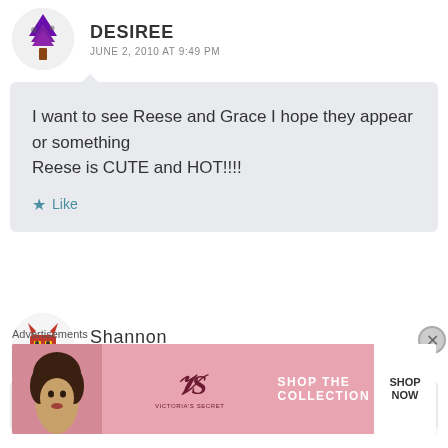DESIREE
JUNE 2, 2010 AT 9:49 PM
I want to see Reese and Grace I hope they appear or something
Reese is CUTE and HOT!!!!
Like
Shannon
MAY 21, 2010 AT 3:42 PM
Advertisements
[Figure (other): Victoria's Secret advertisement banner with model photo, VS logo, text SHOP THE COLLECTION, and SHOP NOW button]